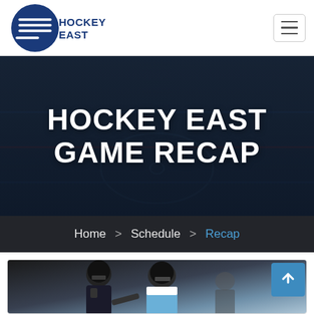Hockey East logo and navigation menu button
HOCKEY EAST GAME RECAP
Home > Schedule > Recap
[Figure (photo): Two female hockey players battling for the puck on ice. One player in black uniform, the other in white and light blue. Both wearing full hockey gear including helmets and face masks.]